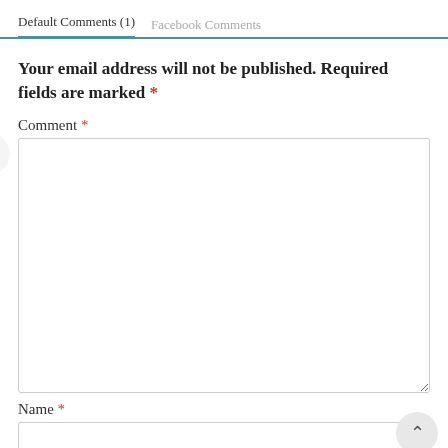Default Comments (1)   Facebook Comments
Your email address will not be published. Required fields are marked *
Comment *
[Figure (screenshot): Comment text area input field with ellipsis bubble on left and resize handle at bottom right]
Name *
[Figure (screenshot): Name text input field]
Email *